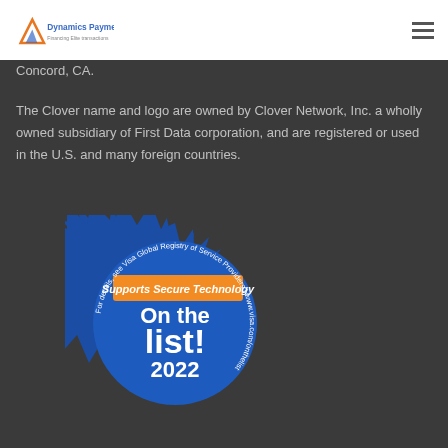Dynamics Payments — Financing Elite Transactions
Concord, CA.
The Clover name and logo are owned by Clover Network, Inc. a wholly owned subsidiary of First Data corporation, and are registered or used in the U.S. and many foreign countries.
[Figure (illustration): Blue starburst badge reading 'Supports Secure Technology / On the list! 2022' with circular text 'For details, see Visa Global Registry of Service Providers | www.visa.com/onthelist']